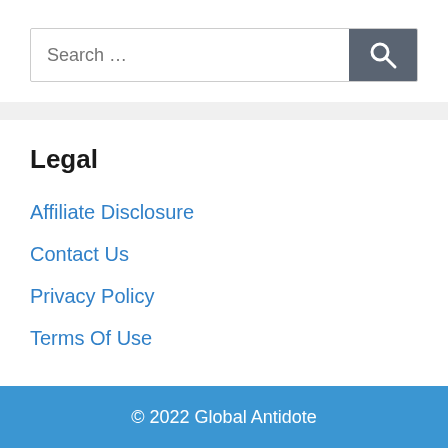Search …
Legal
Affiliate Disclosure
Contact Us
Privacy Policy
Terms Of Use
© 2022 Global Antidote